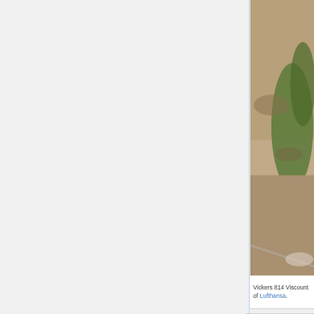[Figure (photo): Aerial or ground-level photograph showing an airfield/runway with earthen terrain and green patches, cropped — part of a larger image showing a Vickers 814 Viscount of Lufthansa aircraft scene.]
Vickers 814 Viscount of Lufthansa.
[Figure (photo): Aerial photograph showing an airfield with runways, green grass areas, and a large commercial aircraft (airliner) visible in the lower portion of the image.]